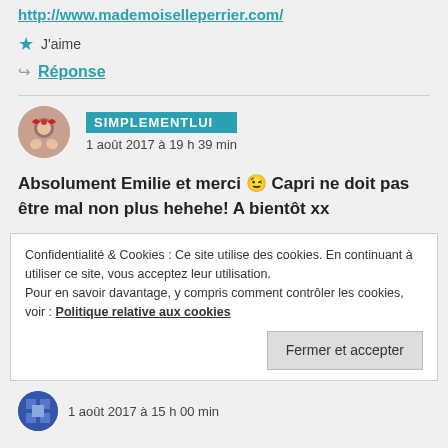http://www.mademoiselleperrier.com/
★ J'aime
↪ Réponse
SIMPLEMENTLUI — 1 août 2017 à 19 h 39 min
Absolument Emilie et merci 😉 Capri ne doit pas être mal non plus hehehe! A bientôt xx
Confidentialité & Cookies : Ce site utilise des cookies. En continuant à utiliser ce site, vous acceptez leur utilisation.
Pour en savoir davantage, y compris comment contrôler les cookies, voir : Politique relative aux cookies
Fermer et accepter
1 août 2017 à 15 h 00 min